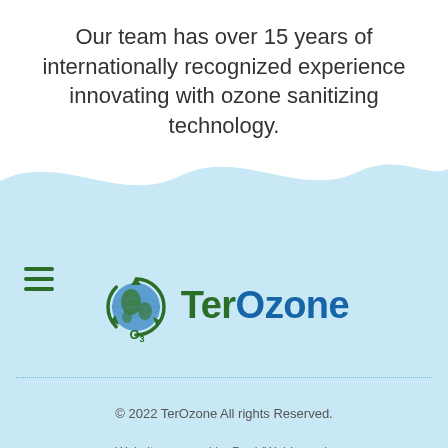Our team has over 15 years of internationally recognized experience innovating with ozone sanitizing technology.
[Figure (illustration): TerOzone logo with globe wrapped in green recycling arrows and O3 subscript, alongside hamburger menu icon, on a light blue wave background]
© 2022 TerOzone All rights Reserved.
Website powered by RapidWebLaunch.